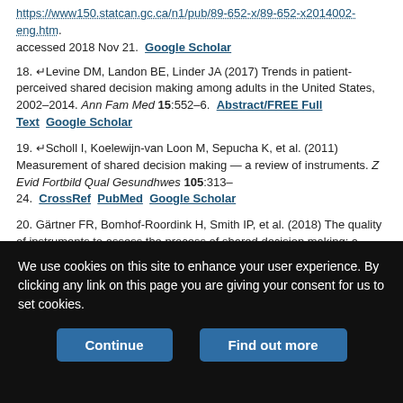https://www150.statcan.gc.ca/n1/pub/89-652-x/89-652-x2014002-eng.htm. accessed 2018 Nov 21. Google Scholar
18. Levine DM, Landon BE, Linder JA (2017) Trends in patient-perceived shared decision making among adults in the United States, 2002–2014. Ann Fam Med 15:552–6. Abstract/FREE Full Text Google Scholar
19. Scholl I, Koelewijn-van Loon M, Sepucha K, et al. (2011) Measurement of shared decision making — a review of instruments. Z Evid Fortbild Qual Gesundhwes 105:313–24. CrossRef PubMed Google Scholar
20. Gärtner FR, Bomhof-Roordink H, Smith IP, et al. (2018) The quality of instruments to assess the process of shared decision making: a systematic review. PLoS One 13:e0191747. CrossRef PubMed Google Scholar
21. Bouniols N, Leclère B, Moret L (2016) Evaluating the quality of shared
We use cookies on this site to enhance your user experience. By clicking any link on this page you are giving your consent for us to set cookies.